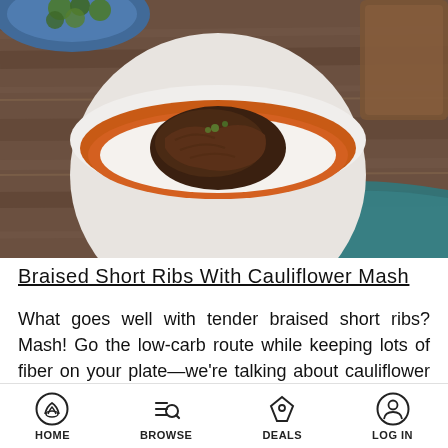[Figure (photo): Overhead photo of braised short ribs served over cauliflower mash in a white bowl with orange-brown braising liquid, on a rustic wooden table. A blue plate with Brussels sprouts is partially visible in the top left, and a teal cloth napkin and wooden board are visible on the right.]
Braised Short Ribs With Cauliflower Mash
What goes well with tender braised short ribs? Mash! Go the low-carb route while keeping lots of fiber on your plate—we're talking about cauliflower once again.
HOME   BROWSE   DEALS   LOG IN